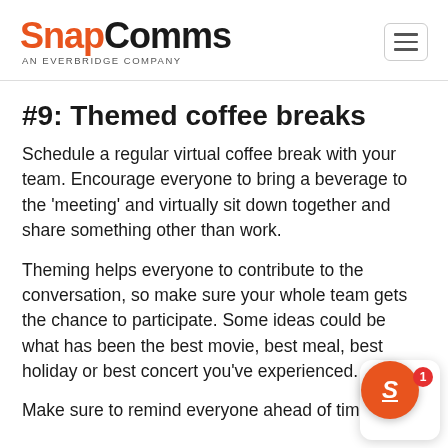SnapComms — AN EVERBRIDGE COMPANY
#9: Themed coffee breaks
Schedule a regular virtual coffee break with your team. Encourage everyone to bring a beverage to the 'meeting' and virtually sit down together and share something other than work.
Theming helps everyone to contribute to the conversation, so make sure your whole team gets the chance to participate. Some ideas could be what has been the best movie, best meal, best holiday or best concert you've experienced.
Make sure to remind everyone ahead of time to